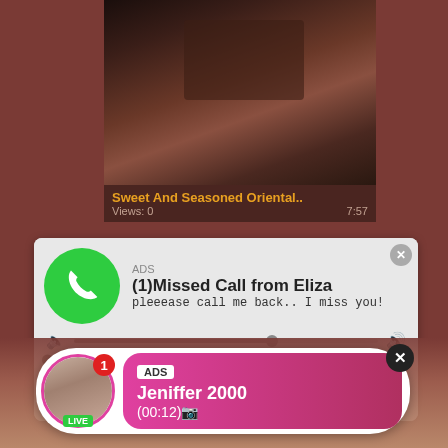[Figure (screenshot): Adult video thumbnail showing a dark image]
Sweet And Seasoned Oriental..
Views: 0   7:57
[Figure (screenshot): Fake missed call ad notification with phone icon, title '(1)Missed Call from Eliza', subtitle 'pleeease call me back.. I miss you!', audio player controls showing 0:00 to 3:23]
[Figure (screenshot): Live notification ad with avatar, ADS label, name 'Jeniffer 2000', time '(00:12)']